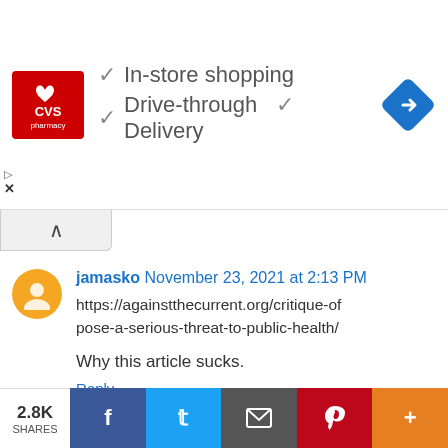[Figure (screenshot): CVS Pharmacy advertisement banner showing logo, checkmarks for In-store shopping, Drive-through, and Delivery, plus a blue navigation diamond icon]
jamasko November 23, 2021 at 2:13 PM
https://againstthecurrent.org/critique-of-pose-a-serious-threat-to-public-health/
Why this article sucks.
Reply
jamasko November 23, 2021 at 2:14 PM
The conclusion doesn't follow from the m